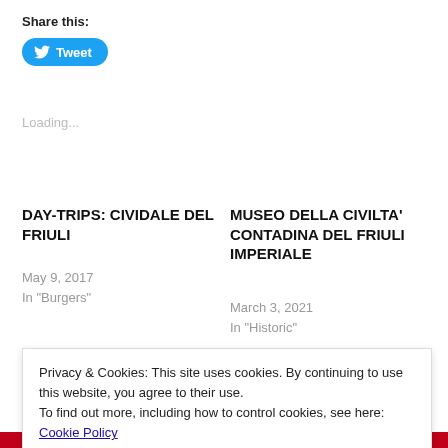Share this:
[Figure (other): Twitter Tweet button (blue rounded button with Twitter bird icon and 'Tweet' label)]
Loading...
DAY-TRIPS: CIVIDALE DEL FRIULI
May 9, 2017
In "Burgers"
MUSEO DELLA CIVILTA' CONTADINA DEL FRIULI IMPERIALE
March 3, 2021
In "Historic"
Privacy & Cookies: This site uses cookies. By continuing to use this website, you agree to their use.
To find out more, including how to control cookies, see here: Cookie Policy
Close and accept